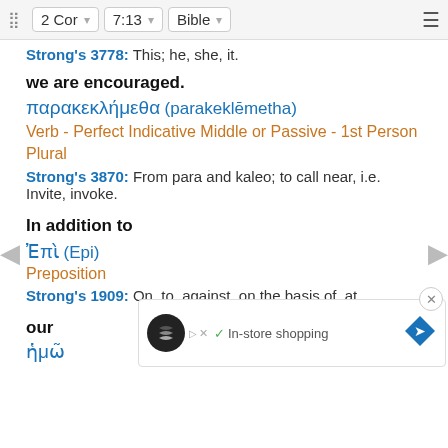2 Cor  7:13  Bible
Strong's 3778: This; he, she, it.
we are encouraged.
παρακεκλήμεθα (parakeklēmetha)
Verb - Perfect Indicative Middle or Passive - 1st Person Plural
Strong's 3870: From para and kaleo; to call near, i.e. Invite, invoke.
In addition to
Ἐπὶ (Epi)
Preposition
Strong's 1909: On, to, against, on the basis of, at.
our
ἡμῶ